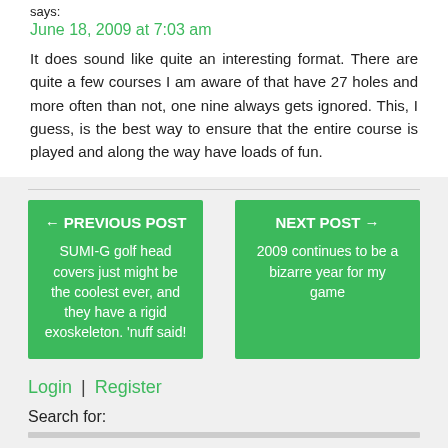says:
June 18, 2009 at 7:03 am
It does sound like quite an interesting format. There are quite a few courses I am aware of that have 27 holes and more often than not, one nine always gets ignored. This, I guess, is the best way to ensure that the entire course is played and along the way have loads of fun.
← PREVIOUS POST
SUMI-G golf head covers just might be the coolest ever, and they have a rigid exoskeleton. 'nuff said!
NEXT POST →
2009 continues to be a bizarre year for my game
Login | Register
Search for: